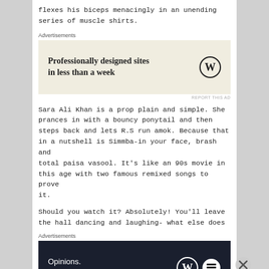flexes his biceps menacingly in an unending series of muscle shirts.
Advertisements
[Figure (screenshot): Advertisement: Professionally designed sites in less than a week — WordPress logo]
REPORT THIS AD
Sara Ali Khan is a prop plain and simple. She prances in with a bouncy ponytail and then steps back and lets R.S run amok. Because that in a nutshell is Simmba-in your face, brash and total paisa vasool. It's like an 90s movie in this age with two famous remixed songs to prove it.
Should you watch it? Absolutely! You'll leave the hall dancing and laughing- what else does
Advertisements
[Figure (screenshot): Advertisement: Opinions. We all have them! — WordPress and icon logos on dark background]